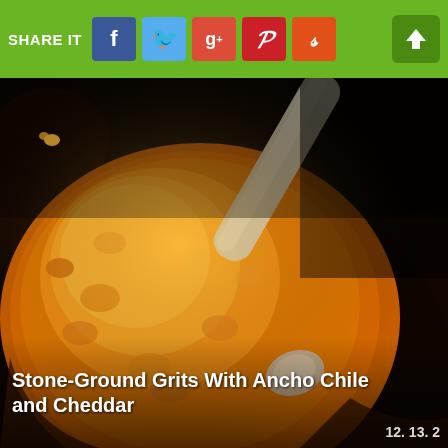SHARE IT
[Figure (photo): Bowl of creamy stone-ground grits with ancho chile and cheddar, being stirred with a wooden spoon, photographed from above in a dark cast iron pan]
Stone-Ground Grits With Ancho Chile and Cheddar
12. 13. 2